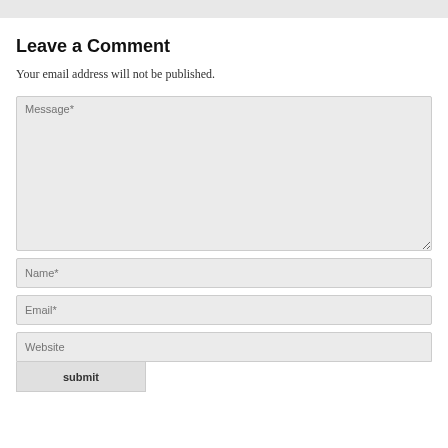Leave a Comment
Your email address will not be published.
[Figure (other): Comment form with Message, Name, Email, Website fields and a submit button]